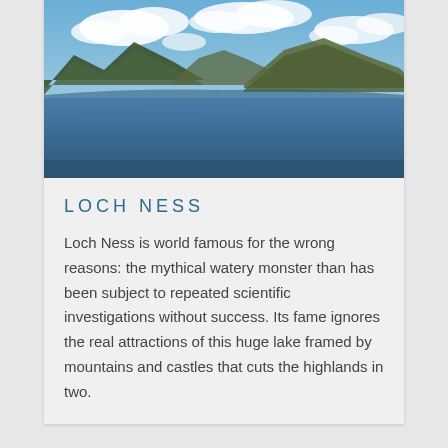[Figure (photo): Loch Ness landscape photo showing a wide blue lake with mountains on both sides and a partly cloudy sky above.]
LOCH NESS
Loch Ness is world famous for the wrong reasons: the mythical watery monster than has been subject to repeated scientific investigations without success. Its fame ignores the real attractions of this huge lake framed by mountains and castles that cuts the highlands in two.